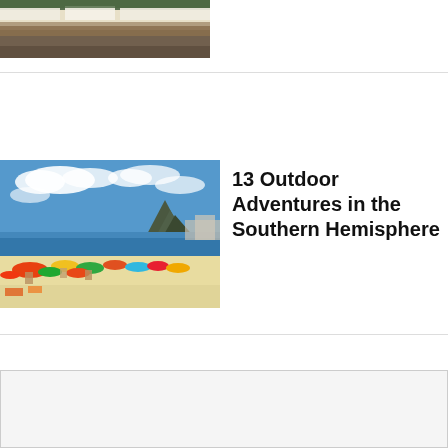[Figure (photo): Aerial/wide-angle photo of a large outdoor event or stadium with crowds]
[Figure (photo): Beach photo with colorful umbrellas, sunbathers, ocean and mountain in background — Ipanema beach, Rio de Janeiro]
13 Outdoor Adventures in the Southern Hemisphere
[Figure (photo): Partial advertisement image at bottom of page with close button]